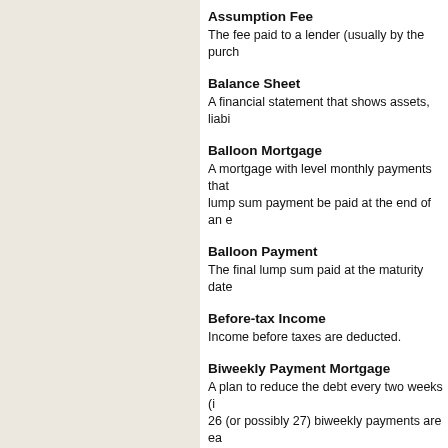Assumption Fee
The fee paid to a lender (usually by the purchaser) when the purchaser assumes responsibility for an existing mortgage.
Balance Sheet
A financial statement that shows assets, liabilities, and net worth as of a specific date.
Balloon Mortgage
A mortgage with level monthly payments that amortizes over a stated term but also requires that a lump sum payment be paid at the end of an earlier specified term.
Balloon Payment
The final lump sum paid at the maturity date of a balloon mortgage.
Before-tax Income
Income before taxes are deducted.
Biweekly Payment Mortgage
A plan to reduce the debt every two weeks (instead of monthly). The 26 (or possibly 27) biweekly payments are each equal to one-half of the monthly payment required if the loan were a standard 30-year fixed-rate mortgage, resulting in significant savings in interest.
Bridge Loan
A second trust that is collateralized by the borrower's present home allowing the proceeds to be used to close on a new house before the present home is sold.
Broker
An individual or company that brings borrowers and lenders together for the purpose of loan origination.
Buydown
When the seller, builder or buyer pays an amount of money up front to the lender to reduce monthly payments during the first few years of a mortgage.